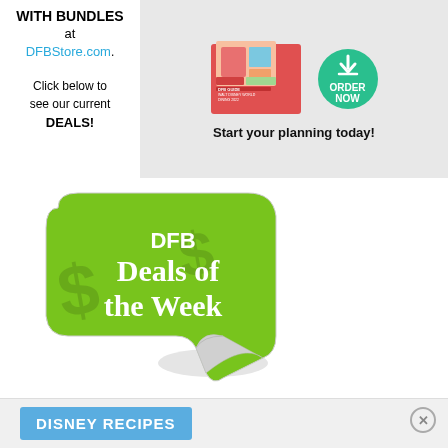WITH BUNDLES at DFBStore.com. Click below to see our current DEALS!
[Figure (illustration): DFB Dining 2022 book cover with food and Disney castle imagery, plus a green circular ORDER NOW download button. Text reads: Start your planning today!]
[Figure (illustration): DFB Deals of the Week green sticker badge with white text and dollar sign watermarks]
DISNEY RECIPES